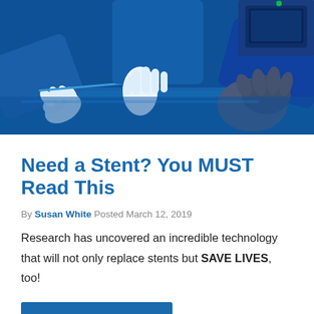[Figure (photo): Medical/surgical scene with gloved hands in blue, handling instruments on a blue-lit surface with medical equipment in the background.]
Need a Stent? You MUST Read This
By Susan White Posted March 12, 2019
Research has uncovered an incredible technology that will not only replace stents but SAVE LIVES, too!